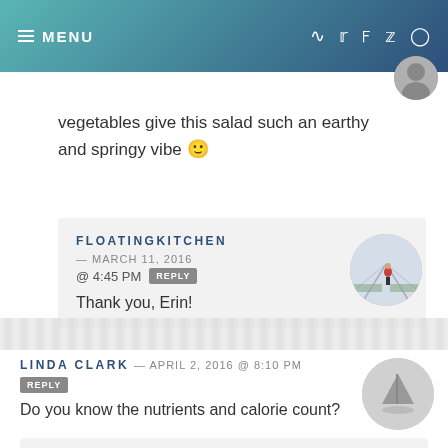MENU
vegetables give this salad such an earthy and springy vibe 🙂
FLOATINGKITCHEN — MARCH 11, 2016 @ 4:45 PM REPLY
Thank you, Erin!
LINDA CLARK — APRIL 2, 2016 @ 8:10 PM REPLY
Do you know the nutrients and calorie count?